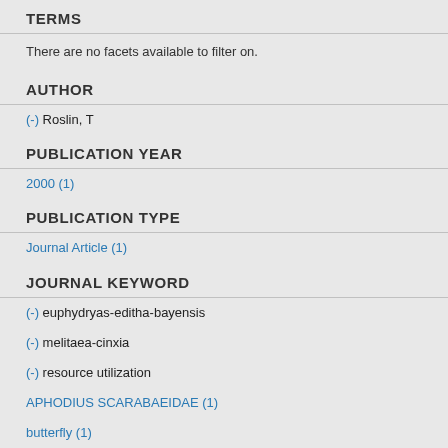TERMS
There are no facets available to filter on.
AUTHOR
(-) Roslin, T
PUBLICATION YEAR
2000 (1)
PUBLICATION TYPE
Journal Article (1)
JOURNAL KEYWORD
(-) euphydryas-editha-bayensis
(-) melitaea-cinxia
(-) resource utilization
APHODIUS SCARABAEIDAE (1)
butterfly (1)
colonization (1)
long-distance dispersal (1)
metapopulation structure (1)
migration (1)